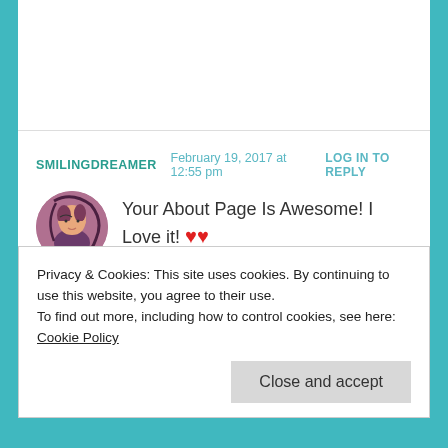SMILINGDREAMER   February 19, 2017 at 12:55 pm   LOG IN TO REPLY
Your About Page Is Awesome! I Love it! ❤❤ ❤
★ Liked by 1 person
Privacy & Cookies: This site uses cookies. By continuing to use this website, you agree to their use.
To find out more, including how to control cookies, see here: Cookie Policy
Close and accept